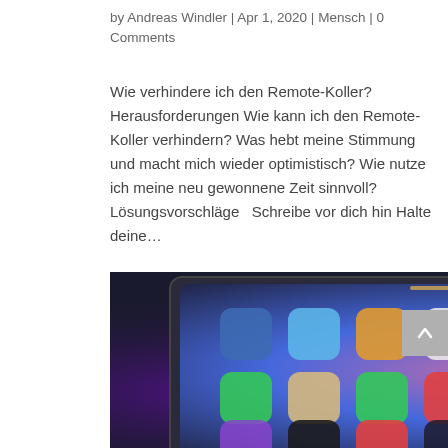by Andreas Windler | Apr 1, 2020 | Mensch | 0 Comments
Wie verhindere ich den Remote-Koller? Herausforderungen Wie kann ich den Remote-Koller verhindern? Was hebt meine Stimmung und macht mich wieder optimistisch? Wie nutze ich meine neu gewonnene Zeit sinnvoll? Lösungsvorschläge   Schreibe vor dich hin Halte deine…
[Figure (photo): An iPad or large screen tablet/monitor displaying an iOS home screen with colorful app icons arranged in a grid, shown against a dark background with ambient colored lighting.]